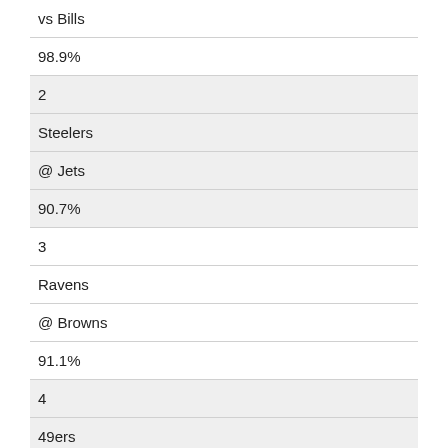| vs Bills |
| 98.9% |
| 2 |
| Steelers |
| @ Jets |
| 90.7% |
| 3 |
| Ravens |
| @ Browns |
| 91.1% |
| 4 |
| 49ers |
| vs Rams |